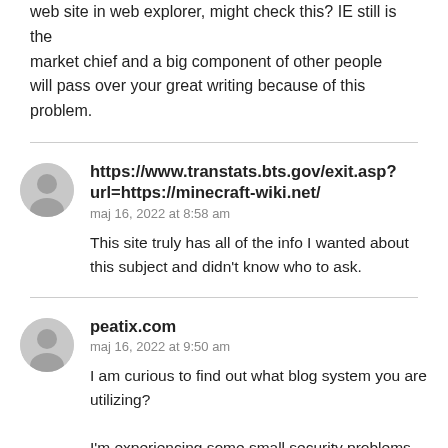web site in web explorer, might check this? IE still is the market chief and a big component of other people will pass over your great writing because of this problem.
https://www.transtats.bts.gov/exit.asp?url=https://minecraft-wiki.net/
maj 16, 2022 at 8:58 am
This site truly has all of the info I wanted about this subject and didn't know who to ask.
peatix.com
maj 16, 2022 at 9:50 am
I am curious to find out what blog system you are utilizing?
I'm experiencing some small security problems with